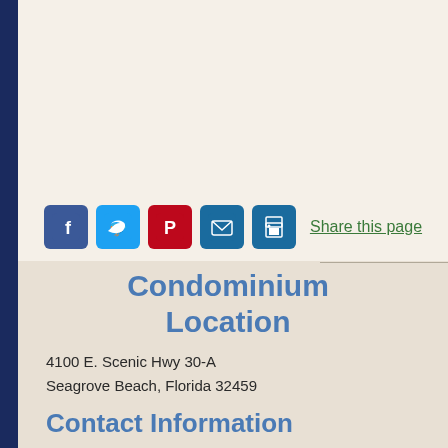[Figure (photo): Bedroom photo showing a bed with blue floral patterned comforter/duvet and white pillows, split into two panels — left shows bed close-up, right shows wooden floor and white closet/furniture area.]
[Figure (infographic): Social media sharing icons row: Facebook (blue), Twitter (light blue), Pinterest (red), Email (dark blue envelope), Print (dark blue printer), followed by 'Share this page' green underlined link text.]
Condominium Location
4100 E. Scenic Hwy 30-A
Seagrove Beach, Florida 32459
Contact Information
Toll-Free: (800) 368-9100
Local: (850) 231-5032
Fax: (850) 231-5543